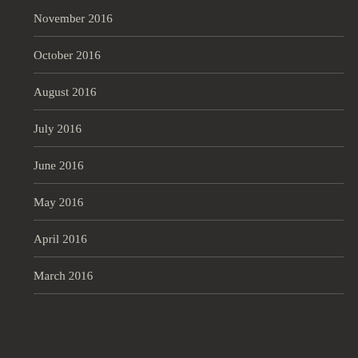November 2016
October 2016
August 2016
July 2016
June 2016
May 2016
April 2016
March 2016